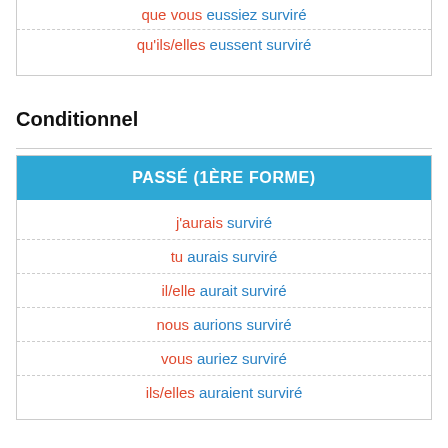| que vous eussiez surviré |
| qu'ils/elles eussent surviré |
Conditionnel
| PASSÉ (1ÈRE FORME) |
| --- |
| j'aurais surviré |
| tu aurais surviré |
| il/elle aurait surviré |
| nous aurions surviré |
| vous auriez surviré |
| ils/elles auraient surviré |